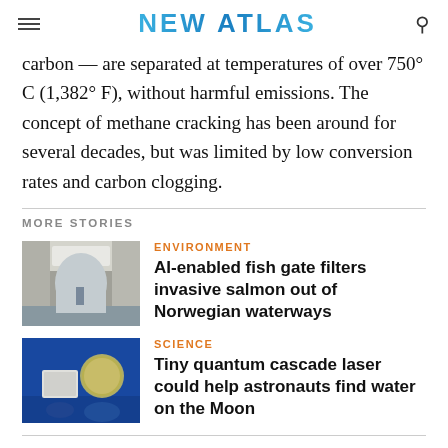NEW ATLAS
carbon — are separated at temperatures of over 750° C (1,382° F), without harmful emissions. The concept of methane cracking has been around for several decades, but was limited by low conversion rates and carbon clogging.
MORE STORIES
[Figure (photo): Interior view of a fish gate or underwater channel structure with archway]
ENVIRONMENT
AI-enabled fish gate filters invasive salmon out of Norwegian waterways
[Figure (photo): Small electronic device next to a coin on a blue reflective surface, quantum cascade laser]
SCIENCE
Tiny quantum cascade laser could help astronauts find water on the Moon